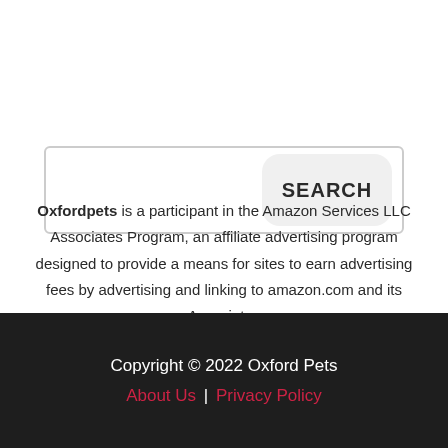[Figure (screenshot): Search bar with a text input area on the left and a SEARCH button on the right with rounded corners]
Oxfordpets is a participant in the Amazon Services LLC Associates Program, an affiliate advertising program designed to provide a means for sites to earn advertising fees by advertising and linking to amazon.com and its Associates
Copyright © 2022 Oxford Pets
About Us | Privacy Policy